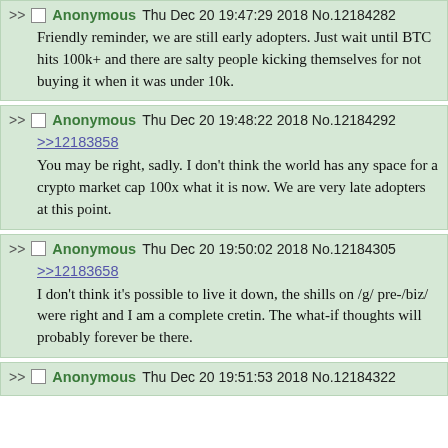>> Anonymous Thu Dec 20 19:47:29 2018 No.12184282
Friendly reminder, we are still early adopters. Just wait until BTC hits 100k+ and there are salty people kicking themselves for not buying it when it was under 10k.
>> Anonymous Thu Dec 20 19:48:22 2018 No.12184292
>>12183858
You may be right, sadly. I don't think the world has any space for a crypto market cap 100x what it is now. We are very late adopters at this point.
>> Anonymous Thu Dec 20 19:50:02 2018 No.12184305
>>12183658
I don't think it's possible to live it down, the shills on /g/ pre-/biz/ were right and I am a complete cretin. The what-if thoughts will probably forever be there.
>> Anonymous Thu Dec 20 19:51:53 2018 No.12184322